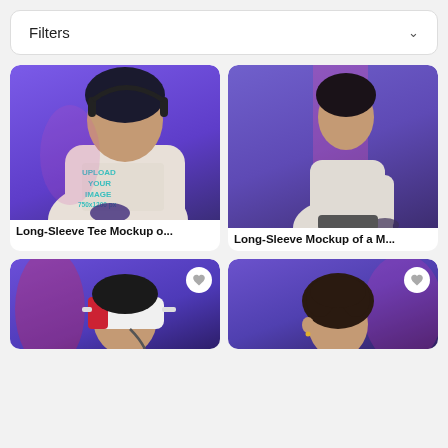Filters
[Figure (photo): Woman wearing white long-sleeve tee with 'UPLOAD YOUR IMAGE 750x1200px' text on it, holding a game controller, purple background, wearing headphones]
Long-Sleeve Tee Mockup o...
[Figure (photo): Man in white long-sleeve shirt viewed from the side, pink/magenta lighting, purple background, holding a game controller]
Long-Sleeve Mockup of a M...
[Figure (photo): Person wearing a VR headset (white with red stripe), purple background, partial view]
[Figure (photo): Young man with curly hair, purple background, partial view]